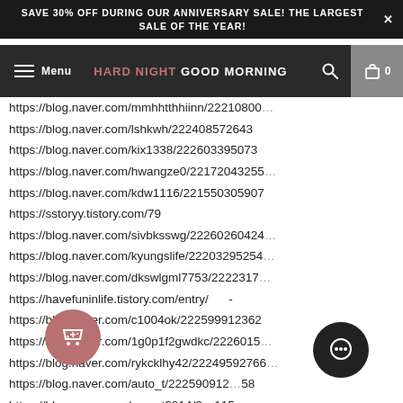SAVE 30% OFF DURING OUR ANNIVERSARY SALE! THE LARGEST SALE OF THE YEAR!
Menu | HARD NIGHT GOOD MORNING | 0
https://blog.naver.com/mmhhtthhiinn/22210800...
https://blog.naver.com/lshkwh/222408572643
https://blog.naver.com/kix1338/222603395073
https://blog.naver.com/hwangze0/22172043255...
https://blog.naver.com/kdw1116/221550305907
https://sstoryy.tistory.com/79
https://blog.naver.com/sivbksswg/22260260424...
https://blog.naver.com/kyungslife/22203295254...
https://blog.naver.com/dkswlgml7753/2222317...
https://havefuninlife.tistory.com/entry/ -
https://blog.naver.com/c1004ok/222599912362
https://blog.naver.com/1g0p1f2gwdkc/2226015...
https://blog.naver.com/rykcklhy42/22249592766...
https://blog.naver.com/auto_t/222590912358
https://blog.naver.com/mount2014/2... 1150...
https://blog.naver.com/r8y4eoiyw/222...0389...
https://blog.naver.com/suus8689/222227190184